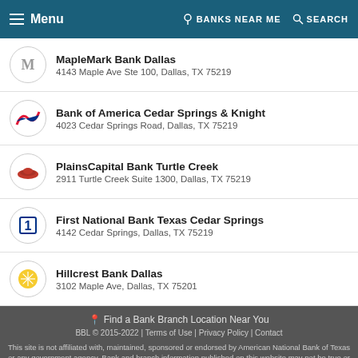Menu | BANKS NEAR ME | SEARCH
MapleMark Bank Dallas
4143 Maple Ave Ste 100, Dallas, TX 75219
Bank of America Cedar Springs & Knight
4023 Cedar Springs Road, Dallas, TX 75219
PlainsCapital Bank Turtle Creek
2911 Turtle Creek Suite 1300, Dallas, TX 75219
First National Bank Texas Cedar Springs
4142 Cedar Springs, Dallas, TX 75219
Hillcrest Bank Dallas
3102 Maple Ave, Dallas, TX 75201
📍 Find a Bank Branch Location Near You
BBL © 2015-2022 | Terms of Use | Privacy Policy | Contact
This site is not affiliated with, maintained, sponsored or endorsed by American National Bank of Texas or any government agency. Bank and branch information published on this website may not be true or accurate at all times. BankBranchLocator.com assumes no responsibility or liability for the accuracy or completeness of the listings.